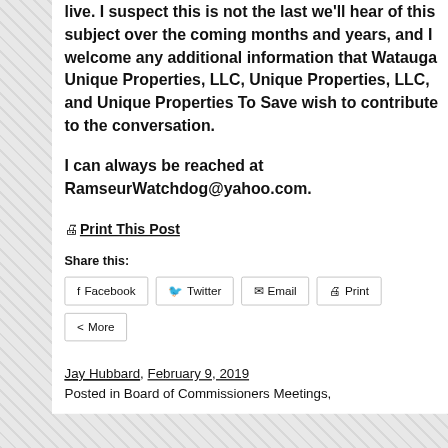live. I suspect this is not the last we'll hear of this subject over the coming months and years, and I welcome any additional information that Watauga Unique Properties, LLC, Unique Properties, LLC, and Unique Properties To Save wish to contribute to the conversation.
I can always be reached at RamseurWatchdog@yahoo.com.
🖨 Print This Post
Share this:
Facebook  Twitter  Email  Print  More
Jay Hubbard, February 9, 2019
Posted in Board of Commissioners Meetings,